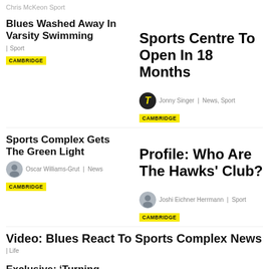Chris McKeon Sport
Blues Washed Away In Varsity Swimming
| Sport
CAMBRIDGE
Sports Centre To Open In 18 Months
Jonny Singer | News, Sport
CAMBRIDGE
Sports Complex Gets The Green Light
Oscar Williams-Grut | News
CAMBRIDGE
Profile: Who Are The Hawks' Club?
Joshi Eichner Herrmann | Sport
CAMBRIDGE
Video: Blues React To Sports Complex News
| Life
Exclusive: ‘Turning Point’ For Sports Complex Plans
The Background To The Sports Complex
| Life
CAMBRIDGE